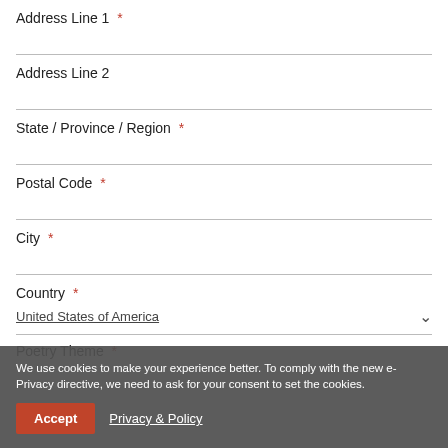Address Line 1 *
Address Line 2
State / Province / Region *
Postal Code *
City *
Country *
United States of America
We use cookies to make your experience better. To comply with the new e-Privacy directive, we need to ask for your consent to set the cookies.
Accept
Privacy & Policy
Poetry Theme *